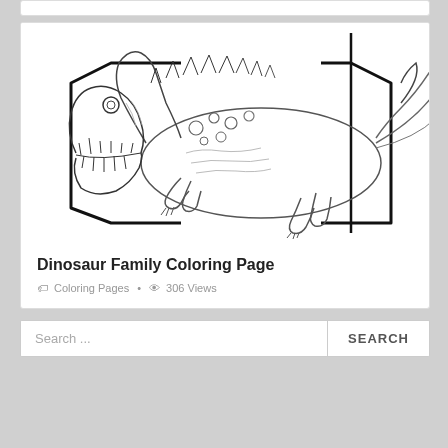[Figure (illustration): Dinosaur family coloring page line art showing a large Indominus Rex / T-Rex style dinosaur with open jaws, spikes along its back, and a geometric hexagonal border frame behind it. Black and white sketch style suitable for coloring.]
Dinosaur Family Coloring Page
🏷 Coloring Pages • 👁 306 Views
Search ...
SEARCH